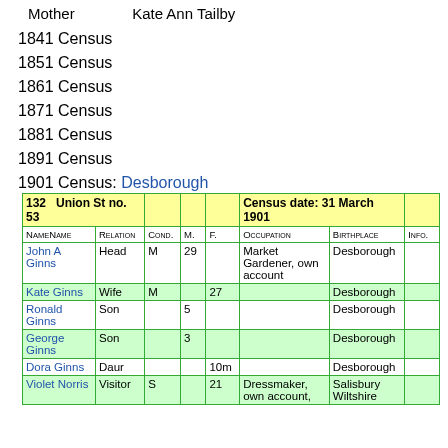Mother   Kate Ann Tailby
1841 Census
1851 Census
1861 Census
1871 Census
1881 Census
1891 Census
1901 Census: Desborough
| 132 | Union St no. 53 |  |  |  | Census date: 31 March 1901 |  |  |
| --- | --- | --- | --- | --- | --- | --- | --- |
| Name | Relation | Cond. | M. | F. | Occupation | Birthplace | Info. |
| John A Ginns | Head | M | 29 |  | Market Gardener, own account | Desborough |  |
| Kate Ginns | Wife | M |  | 27 |  | Desborough |  |
| Ronald Ginns | Son |  | 5 |  |  | Desborough |  |
| George Ginns | Son |  | 3 |  |  | Desborough |  |
| Dora Ginns | Daur |  |  | 10m |  | Desborough |  |
| Violet Norris | Visitor | S |  | 21 | Dressmaker, own account, | Salisbury Wiltshire |  |